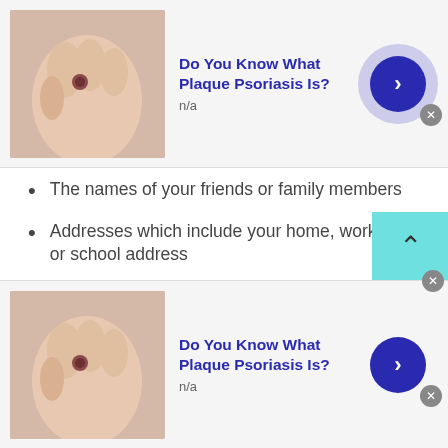[Figure (other): Top advertisement banner: thumbnail image of hand/skin, title 'Do You Know What Plaque Psoriasis Is?', subtitle 'n/a', blue arrow button, close X button]
The names of your friends or family members
Addresses which include your home, workplace, or school address
Home phone numbers
Personal phone numbers
Your credit or debit card details
For an extra safety measures make sure you:
[Figure (other): Bottom advertisement banner: thumbnail image of hand/skin, title 'Do You Know What Plaque Psoriasis Is?', subtitle 'n/a', blue arrow button, close X button]